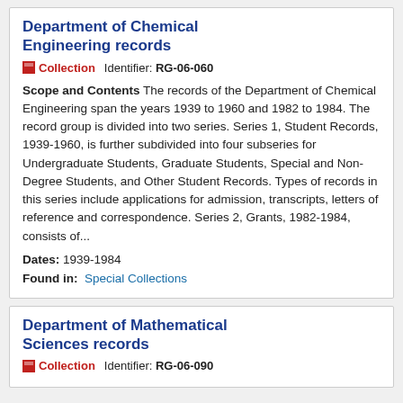Department of Chemical Engineering records
Collection   Identifier: RG-06-060
Scope and Contents The records of the Department of Chemical Engineering span the years 1939 to 1960 and 1982 to 1984. The record group is divided into two series. Series 1, Student Records, 1939-1960, is further subdivided into four subseries for Undergraduate Students, Graduate Students, Special and Non-Degree Students, and Other Student Records. Types of records in this series include applications for admission, transcripts, letters of reference and correspondence. Series 2, Grants, 1982-1984, consists of...
Dates: 1939-1984
Found in: Special Collections
Department of Mathematical Sciences records
Collection   Identifier: RG-06-090